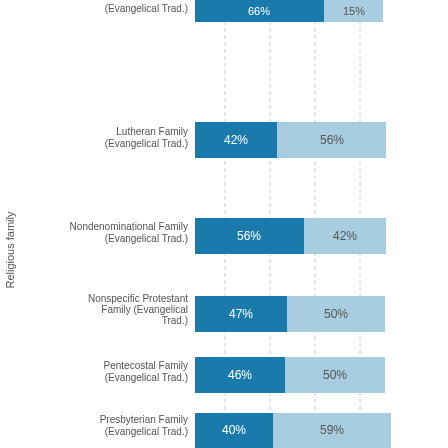[Figure (stacked-bar-chart): Religious family (partial view)]